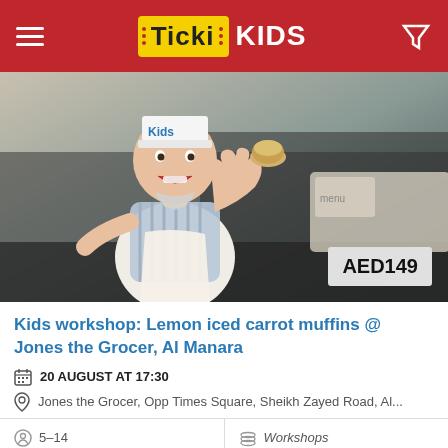TickiKIDS
[Figure (photo): Child wearing a paper chef hat labeled 'Kids' and a white apron, giving thumbs up and holding a muffin, in a kitchen/restaurant setting. Price badge shows AED149.]
Kids workshop: Lemon iced carrot muffins @ Jones the Grocer, Al Manara
20 AUGUST AT 17:30
Jones the Grocer, Opp Times Square, Sheikh Zayed Road, Al...
5–14
Workshops
527 Shares